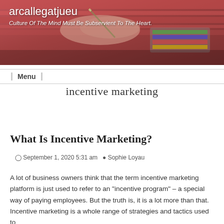[Figure (photo): Header photo showing hands painting or drawing with watercolors, with paints visible in the background. Overlaid with site title and subtitle text.]
arcallegatjueu — Culture Of The Mind Must Be Subservient To The Heart.
incentive marketing
What Is Incentive Marketing?
September 1, 2020 5:31 am  Sophie Loyau
A lot of business owners think that the term incentive marketing platform is just used to refer to an "incentive program" – a special way of paying employees. But the truth is, it is a lot more than that. Incentive marketing is a whole range of strategies and tactics used to